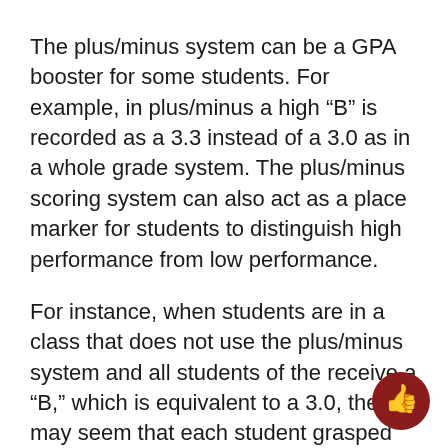The plus/minus system can be a GPA booster for some students. For example, in plus/minus a high “B” is recorded as a 3.3 instead of a 3.0 as in a whole grade system. The plus/minus scoring system can also act as a place marker for students to distinguish high performance from low performance.
For instance, when students are in a class that does not use the plus/minus system and all students of the receive a “B,” which is equivalent to a 3.0, then it may seem that each student grasped the information equally.
Though the plus/minus system can be beneficial for some, it can also be detrimental for students taking classes with tough grad… The usual rebuttal to this is that students